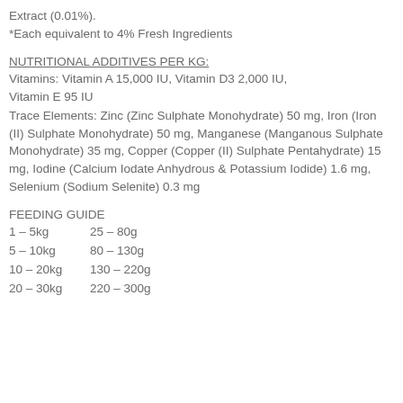Extract (0.01%).
*Each equivalent to 4% Fresh Ingredients
NUTRITIONAL ADDITIVES PER KG:
Vitamins: Vitamin A 15,000 IU, Vitamin D3 2,000 IU, Vitamin E 95 IU
Trace Elements: Zinc (Zinc Sulphate Monohydrate) 50 mg, Iron (Iron (II) Sulphate Monohydrate) 50 mg, Manganese (Manganous Sulphate Monohydrate) 35 mg, Copper (Copper (II) Sulphate Pentahydrate) 15 mg, Iodine (Calcium Iodate Anhydrous & Potassium Iodide) 1.6 mg, Selenium (Sodium Selenite) 0.3 mg
FEEDING GUIDE
1 – 5kg    25 – 80g
5 – 10kg   80 – 130g
10 – 20kg  130 – 220g
20 – 30kg  220 – 300g